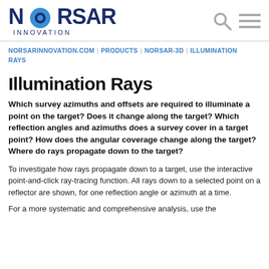NORSAR INNOVATION
NORSARINNOVATION.COM | PRODUCTS | NORSAR-3D | ILLUMINATION RAYS
Illumination Rays
Which survey azimuths and offsets are required to illuminate a point on the target? Does it change along the target? Which reflection angles and azimuths does a survey cover in a target point? How does the angular coverage change along the target? Where do rays propagate down to the target?
To investigate how rays propagate down to a target, use the interactive point-and-click ray-tracing function. All rays down to a selected point on a reflector are shown, for one reflection angle or azimuth at a time.
For a more systematic and comprehensive analysis, use the